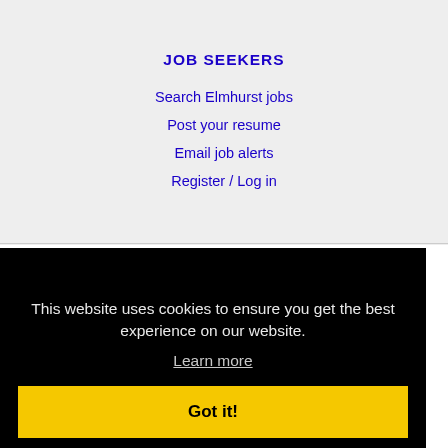JOB SEEKERS
Search Elmhurst jobs
Post your resume
Email job alerts
Register / Log in
This website uses cookies to ensure you get the best experience on our website.
Learn more
Got it!